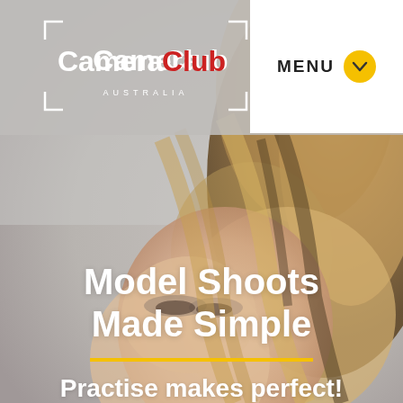[Figure (logo): Camera Club Australia logo with red 'Club' text and corner bracket decorations]
[Figure (photo): Portrait photo of a blonde female model looking upward against a grey background, with flowing hair]
Model Shoots Made Simple
Practise makes perfect!